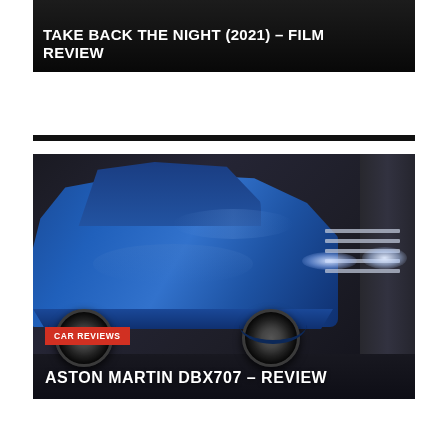[Figure (photo): Dark-toned movie still from Take Back the Night (2021) with overlaid title text in white uppercase letters]
TAKE BACK THE NIGHT (2021) – FILM REVIEW
[Figure (photo): Blue Aston Martin DBX707 SUV photographed in a dark garage setting, with headlights on]
CAR REVIEWS
ASTON MARTIN DBX707 – REVIEW